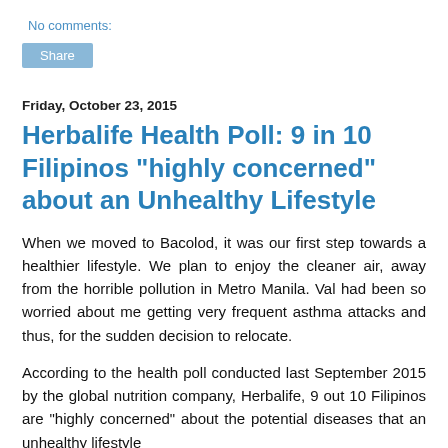No comments:
Share
Friday, October 23, 2015
Herbalife Health Poll: 9 in 10 Filipinos "highly concerned" about an Unhealthy Lifestyle
When we moved to Bacolod, it was our first step towards a healthier lifestyle. We plan to enjoy the cleaner air, away from the horrible pollution in Metro Manila. Val had been so worried about me getting very frequent asthma attacks and thus, for the sudden decision to relocate.
According to the health poll conducted last September 2015 by the global nutrition company, Herbalife, 9 out 10 Filipinos are "highly concerned" about the potential diseases that an unhealthy lifestyle